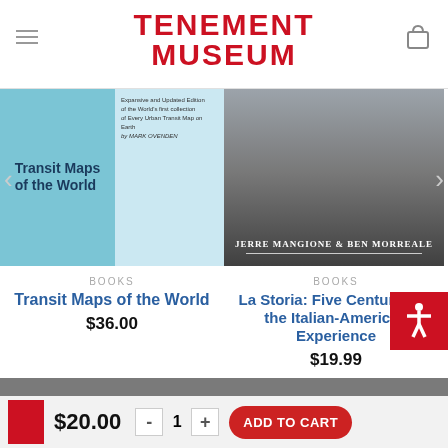TENEMENT MUSEUM
[Figure (photo): Book cover: Transit Maps of the World]
BOOKS
Transit Maps of the World
$36.00
[Figure (photo): Book cover: La Storia: Five Centuries of the Italian-American Experience]
BOOKS
La Storia: Five Centuries of the Italian-American Experience
$19.99
ABOUT US
Your purchase helps the Tenement Museum realize its vision of a society that embraces and values the fundamental role of immigration in the evolving American identity.
$20.00
ADD TO CART